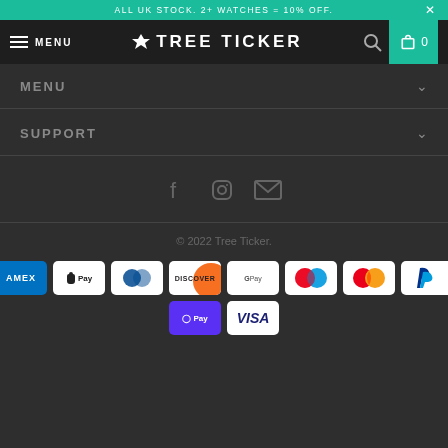ALL UK STOCK. 2+ WATCHES = 10% OFF.
MENU  TREE TICKER  0
MENU
SUPPORT
[Figure (illustration): Social media icons: Facebook, Instagram, Email]
© 2022 Tree Ticker.
[Figure (illustration): Payment method logos: AMEX, Apple Pay, Diners Club, Discover, Google Pay, Mastercard (two variants), PayPal, OPay, Visa]